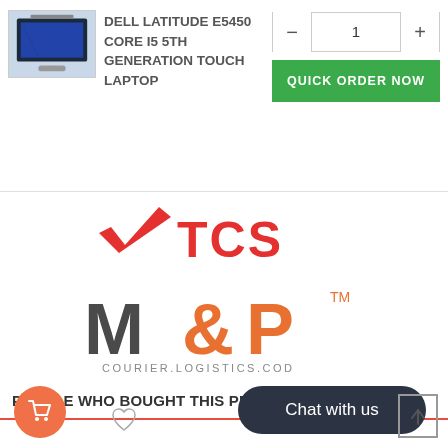[Figure (screenshot): E-commerce product page showing Dell Latitude e5450 laptop with quantity selector and Quick Order Now button, TCS courier logo, M&P Courier Logistics COD logo, and People Who Bought This Product section with chat widget.]
DELL LATITUDE e5450 CORE I5 5TH GENERATION TOUCH LAPTOP
- 1 +
QUICK ORDER NOW
[Figure (logo): TCS red logo with checkmark/wing icon]
[Figure (logo): M&P Courier Logistics COD logo in grey and orange]
PEOPLE WHO BOUGHT THIS PRODUCT A
Chat with us